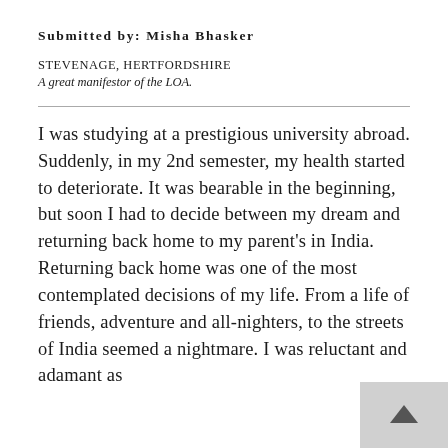Submitted by: Misha Bhasker
STEVENAGE, HERTFORDSHIRE
A great manifestor of the LOA.
I was studying at a prestigious university abroad. Suddenly, in my 2nd semester, my health started to deteriorate. It was bearable in the beginning, but soon I had to decide between my dream and returning back home to my parent's in India. Returning back home was one of the most contemplated decisions of my life. From a life of friends, adventure and all-nighters, to the streets of India seemed a nightmare. I was reluctant and adamant as